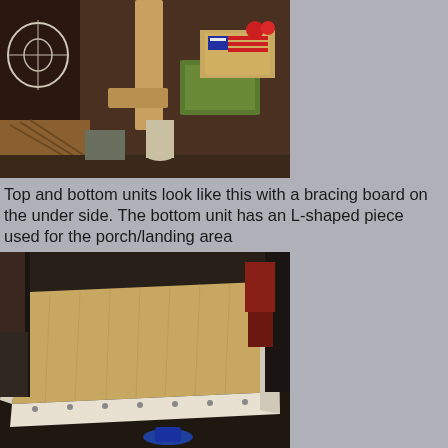[Figure (photo): Photograph of a wooden bracing board structure, vertical beam with cross-brace, in a cluttered garage/workshop with boxes, a fan, and various items in the background.]
Top and bottom units look like this with a bracing board on the under side. The bottom unit has an L-shaped piece used for the porch/landing area
[Figure (photo): Photograph of a rectangular flat wooden platform/unit with light wood panel surface and white-painted frame edges with screws visible, sitting on a workbench in a garage setting.]